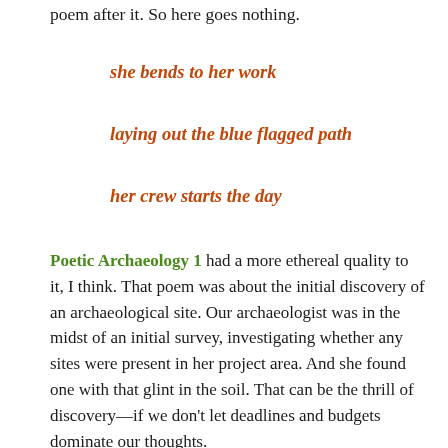poem after it. So here goes nothing.
she bends to her work
laying out the blue flagged path
her crew starts the day
Poetic Archaeology 1 had a more ethereal quality to it, I think. That poem was about the initial discovery of an archaeological site. Our archaeologist was in the midst of an initial survey, investigating whether any sites were present in her project area. And she found one with that glint in the soil. That can be the thrill of discovery—if we don't let deadlines and budgets dominate our thoughts.